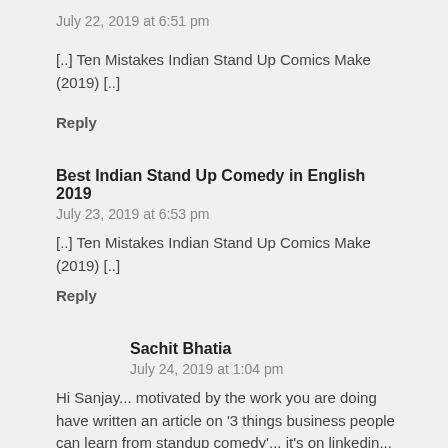July 22, 2019 at 6:51 pm
[..] Ten Mistakes Indian Stand Up Comics Make (2019) [..]
Reply
Best Indian Stand Up Comedy in English 2019
July 23, 2019 at 6:53 pm
[..] Ten Mistakes Indian Stand Up Comics Make (2019) [..]
Reply
Sachit Bhatia
July 24, 2019 at 1:04 pm
Hi Sanjay... motivated by the work you are doing have written an article on '3 things business people can learn from standup comedy'... it's on linkedin... do read and comment when you find time... here's the link: